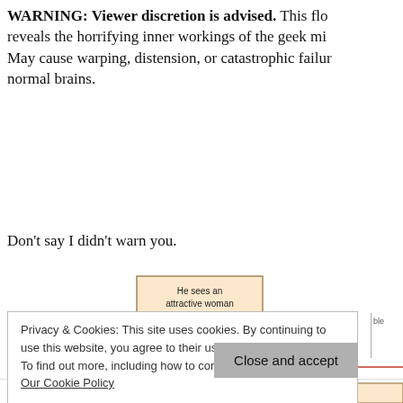WARNING: Viewer discretion is advised. This flo reveals the horrifying inner workings of the geek mi May cause warping, distension, or catastrophic failur normal brains.
Don't say I didn't warn you.
[Figure (flowchart): A flowchart beginning with 'He sees an attractive woman', leading to 'Does he appreciate her?' with a No branch going right and a Yes branch going down to 'Does he mention this aloud?' with a No branch going left and a Yes branch going right to 'Does this bother me?'. Arrows in blue/grey, labels in dark red.]
Privacy & Cookies: This site uses cookies. By continuing to use this website, you agree to their use.
To find out more, including how to control cookies, see here: Our Cookie Policy
Close and accept